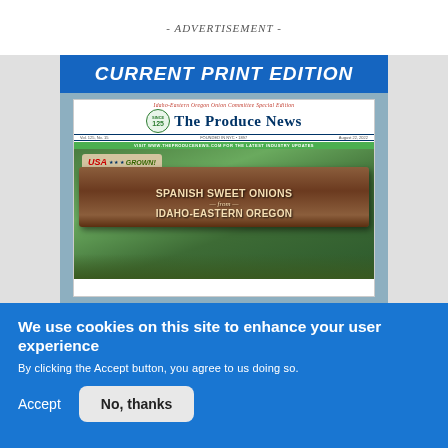- ADVERTISEMENT -
CURRENT PRINT EDITION
[Figure (illustration): Front page of The Produce News newspaper - Idaho-Eastern Oregon Onion Committee Special Edition, featuring a wooden sign reading 'USA GROWN! SPANISH SWEET ONIONS from IDAHO-EASTERN OREGON' over a background of green onion plants and onions.]
We use cookies on this site to enhance your user experience
By clicking the Accept button, you agree to us doing so.
Accept
No, thanks